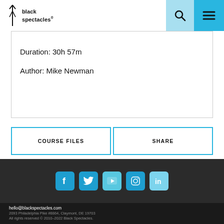black spectacles
Duration: 30h 57m
Author: Mike Newman
COURSE FILES
SHARE
[Figure (infographic): Social media icons row: Facebook, Twitter, YouTube, Instagram, LinkedIn on dark background]
hello@blackspectacles.com
2093 Philadelphia Pike #8864, Claymont, DE 19703
All rights reserved © 2010–2022 Black Spectacles.